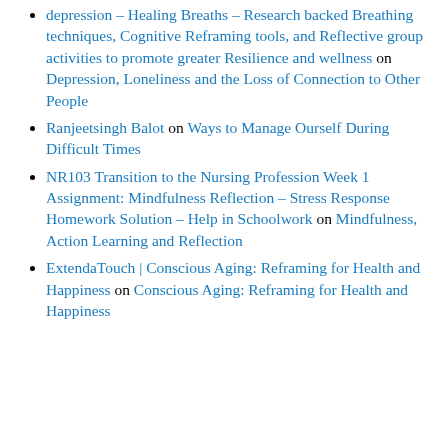depression – Healing Breaths – Research backed Breathing techniques, Cognitive Reframing tools, and Reflective group activities to promote greater Resilience and wellness on Depression, Loneliness and the Loss of Connection to Other People
Ranjeetsingh Balot on Ways to Manage Ourself During Difficult Times
NR103 Transition to the Nursing Profession Week 1 Assignment: Mindfulness Reflection – Stress Response Homework Solution – Help in Schoolwork on Mindfulness, Action Learning and Reflection
ExtendaTouch | Conscious Aging: Reframing for Health and Happiness on Conscious Aging: Reframing for Health and Happiness